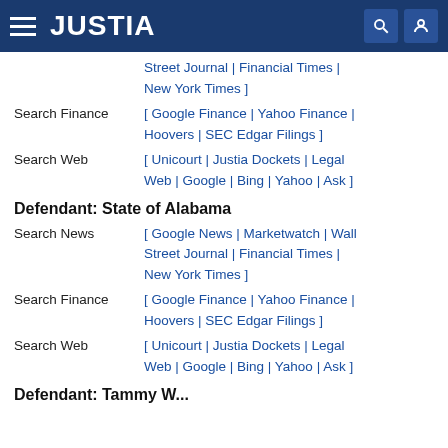JUSTIA
Street Journal | Financial Times | New York Times ]
Search Finance   [ Google Finance | Yahoo Finance | Hoovers | SEC Edgar Filings ]
Search Web   [ Unicourt | Justia Dockets | Legal Web | Google | Bing | Yahoo | Ask ]
Defendant: State of Alabama
Search News   [ Google News | Marketwatch | Wall Street Journal | Financial Times | New York Times ]
Search Finance   [ Google Finance | Yahoo Finance | Hoovers | SEC Edgar Filings ]
Search Web   [ Unicourt | Justia Dockets | Legal Web | Google | Bing | Yahoo | Ask ]
Defendant: Tammy W...